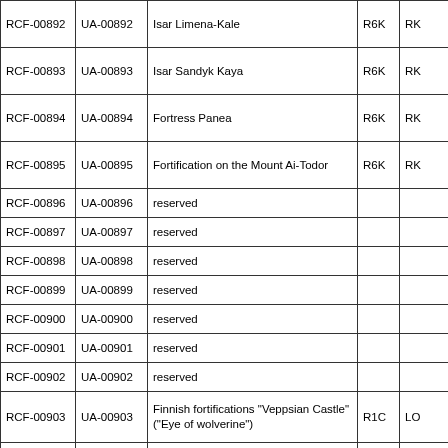| RCF ID | UA ID | Name | Code1 | Code2 |
| --- | --- | --- | --- | --- |
| RCF-00892 | UA-00892 | Isar Limena-Kale | R6K | RK |
| RCF-00893 | UA-00893 | Isar Sandyk Kaya | R6K | RK |
| RCF-00894 | UA-00894 | Fortress Panea | R6K | RK |
| RCF-00895 | UA-00895 | Fortification on the Mount Ai-Todor | R6K | RK |
| RCF-00896 | UA-00896 | reserved |  |  |
| RCF-00897 | UA-00897 | reserved |  |  |
| RCF-00898 | UA-00898 | reserved |  |  |
| RCF-00899 | UA-00899 | reserved |  |  |
| RCF-00900 | UA-00900 | reserved |  |  |
| RCF-00901 | UA-00901 | reserved |  |  |
| RCF-00902 | UA-00902 | reserved |  |  |
| RCF-00903 | UA-00903 | Finnish fortifications "Veppsian Castle" ("Eye of wolverine") | R1C | LO |
| RCF-00904 | UA-00904 | Fotress of Nikitsky Monastery | R3M | YR |
| RCF-00905 | UA-00905 | Kostroma Kremlin | R3N | KS |
| RCF-00906 | UA-00906 | Omsk. Irtyshskiye Gate | R9M | OM |
| RCF-00907 | UA-00907 | Omsk. Omskiye Gate | R9M | OM |
| RCF-00908 | UA-00908 | Dubrovny Redoubt | R9M | OM |
| RCF-00909 | UA-00909 | Losev Redoubt | R9M | OM |
| RCF-00910 | UA-00910 | Nikolayevskaya Fortress | R9M | OM |